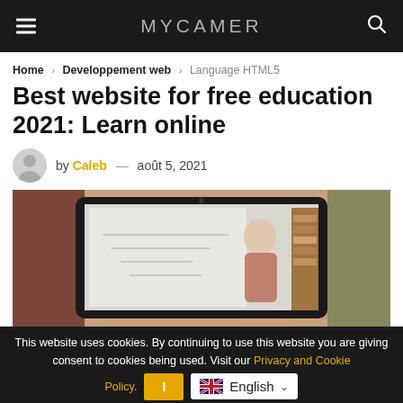MYCAMER
Home > Developpement web > Language HTML5
Best website for free education 2021: Learn online
by Caleb — août 5, 2021
[Figure (photo): An older woman with glasses standing in front of a whiteboard, viewed on a laptop or tablet screen, teaching online]
This website uses cookies. By continuing to use this website you are giving consent to cookies being used. Visit our Privacy and Cookie Policy.